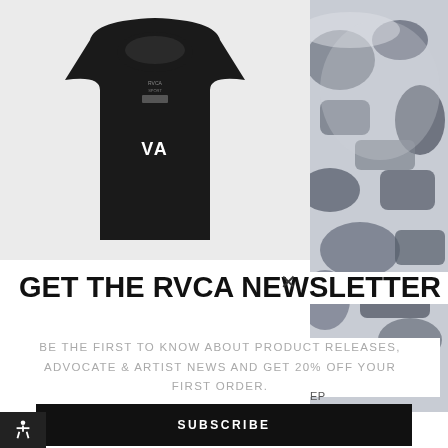[Figure (photo): Black RVCA VA logo sleeveless tank top on light gray background, showing front of shirt with VA logo on chest and RVCA neck label]
[Figure (photo): Gray camouflage short-sleeve shirt on white background, partially visible on right side of page]
GET THE RVCA NEWSLETTER
BE THE FIRST TO KNOW ABOUT PRODUCT RELEASES, ADVOCATE & ARTIST NEWS AND GET 20% OFF YOUR FIRST ORDER.
SUBSCRIBE
EP
$48.00
$50